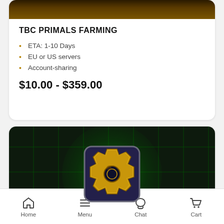[Figure (screenshot): Top portion of a game item card showing a dark golden/brown gradient image (partially cropped)]
TBC PRIMALS FARMING
ETA: 1-10 Days
EU or US servers
Account-sharing
$10.00 - $359.00
[Figure (screenshot): Game item card showing a golden gear/cog icon with green glowing background on a dark grid-patterned background]
Home  Menu  Chat  Cart